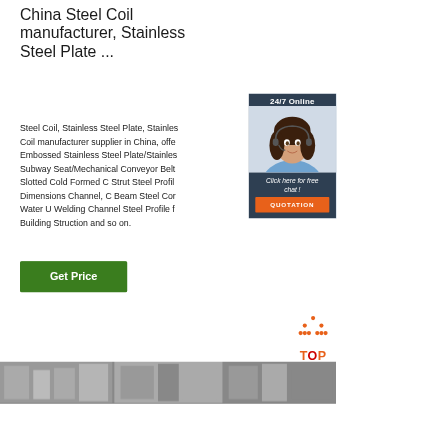China Steel Coil manufacturer, Stainless Steel Plate ...
Steel Coil, Stainless Steel Plate, Stainless Steel Coil manufacturer supplier in China, offering Embossed Stainless Steel Plate/Stainless Steel Subway Seat/Mechanical Conveyor Belt Dimension, Slotted Cold Formed C Strut Steel Profile Dimensions Channel, C Beam Steel Construction Water U Welding Channel Steel Profile for Building Struction and so on.
[Figure (photo): Customer service widget: dark blue box with '24/7 Online' text, photo of woman with headset smiling, 'Click here for free chat!' italic text, and orange QUOTATION button]
[Figure (infographic): Orange and red 'TOP' back-to-top button with dotted house/arrow icon]
[Figure (photo): Bottom strip showing industrial/factory floor images]